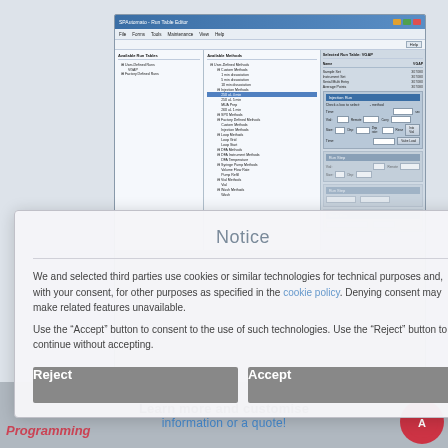[Figure (screenshot): Software application window showing a Run Table Editor with panels for Available Run Tables, Available Methods, and Selected Run Table. Multiple tree-view lists show methods including Custom Methods, Injection Methods, Loop Methods, DFA Methods, Syringe Pump Methods, and Wash Methods. Right side shows form fields for configuring run parameters.]
Notice
We and selected third parties use cookies or similar technologies for technical purposes and, with your consent, for other purposes as specified in the cookie policy. Denying consent may make related features unavailable.
Use the “Accept” button to consent to the use of such technologies. Use the “Reject” button to continue without accepting.
Reject
Accept
Learn more and customise
information or a quote!